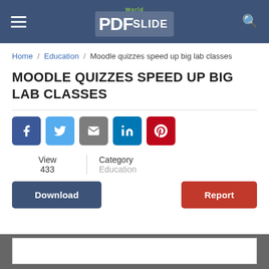PDFSlide World
Home / Education / Moodle quizzes speed up big lab classes
MOODLE QUIZZES SPEED UP BIG LAB CLASSES
[Figure (infographic): Social share buttons: Facebook, Twitter, Email, LinkedIn, Pinterest]
View 433 | Category Education
Download | Report
[Figure (screenshot): Document preview area with grey background and white inner panel]